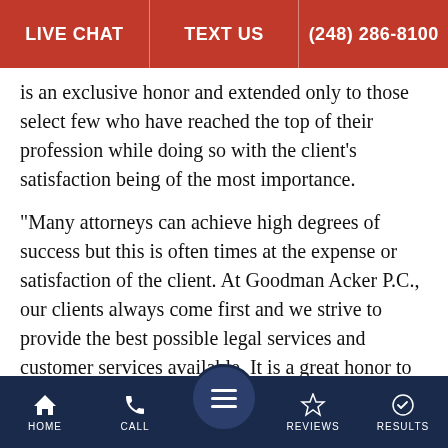LIVE CHAT | TEXT US | (248) 286-8100
is an exclusive honor and extended only to those select few who have reached the top of their profession while doing so with the client’s satisfaction being of the most importance.
“Many attorneys can achieve high degrees of success but this is often times at the expense or satisfaction of the client. At Goodman Acker P.C., our clients always come first and we strive to provide the best possible legal services and customer services available. It is a great honor to receive this award and we will continue to operate with the best interests of our clients,” says Acker.
To view the Goodman and Acker P.C. listing on the AIOPIA website, click here
HOME | CALL | REVIEWS | RESULTS